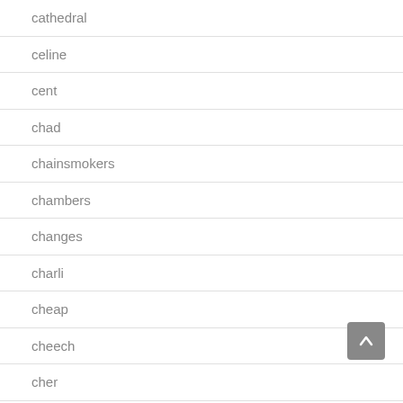cathedral
celine
cent
chad
chainsmokers
chambers
changes
charli
cheap
cheech
cher